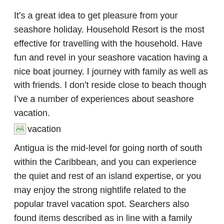It's a great idea to get pleasure from your seashore holiday. Household Resort is the most effective for travelling with the household. Have fun and revel in your seashore vacation having a nice boat journey. I journey with family as well as with friends. I don't reside close to beach though I've a number of experiences about seashore vacation.
[Figure (photo): Broken/missing image placeholder with alt text 'vacation']
Antigua is the mid-level for going north of south within the Caribbean, and you can experience the quiet and rest of an island expertise, or you may enjoy the strong nightlife related to the popular travel vacation spot. Searchers also found items described as in line with a family traveling on vacation and unspecified personal gadgets that allowed officers to confirm that the car seen plunging into the river was the Thottapilly's SUV.
Numerous neighborhoods are walkable so if you plan to remain for a number of days, tackle China City or Haight Ashbury at some point which you'll discover to be very walkable with tons to do so it